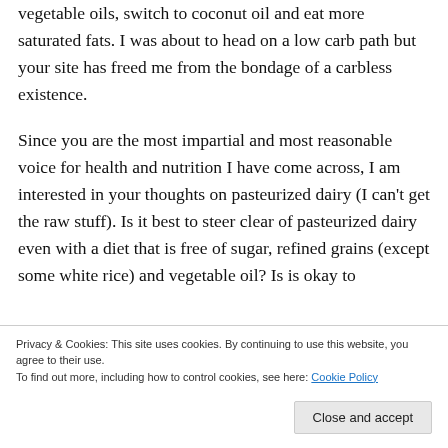vegetable oils, switch to coconut oil and eat more saturated fats. I was about to head on a low carb path but your site has freed me from the bondage of a carbless existence.
Since you are the most impartial and most reasonable voice for health and nutrition I have come across, I am interested in your thoughts on pasteurized dairy (I can't get the raw stuff). Is it best to steer clear of pasteurized dairy even with a diet that is free of sugar, refined grains (except some white rice) and vegetable oil? Is is okay to
Privacy & Cookies: This site uses cookies. By continuing to use this website, you agree to their use.
To find out more, including how to control cookies, see here: Cookie Policy